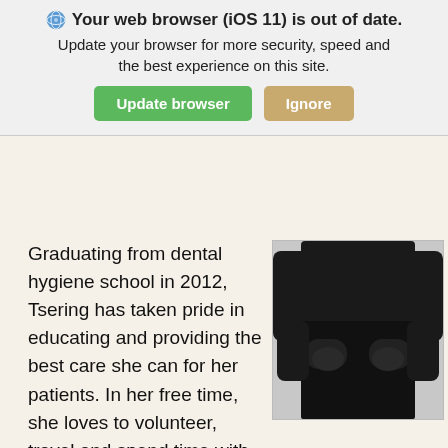[Figure (screenshot): Browser update notification banner overlay showing 'Your web browser (iOS 11) is out of date. Update your browser for more security, speed and the best experience on this site.' with 'Update browser' (green) and 'Ignore' (tan) buttons.]
Graduating from dental hygiene school in 2012, Tsering has taken pride in educating and providing the best care she can for her patients. In her free time, she loves to volunteer, travel and spend time with her family. Tsering is also fluent in Tibetan and Hindi.
[Figure (photo): Photo of a person wearing a black outfit, standing with hands in pockets, from mid-torso down.]